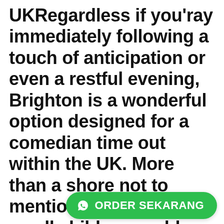UKRegardless if you'ray immediately following a touch of anticipation or even a restful evening, Brighton is a wonderful option designed for a comedian time out within the UK. More than a shore not to mention renowned pier, small children could certainly understand a world of want to know at SEA LIFE Brighton Aquarium. Certainly simply stone'utes dispose of from
[Figure (other): Green rounded button with WhatsApp icon and text 'ORDER SEKARANG']